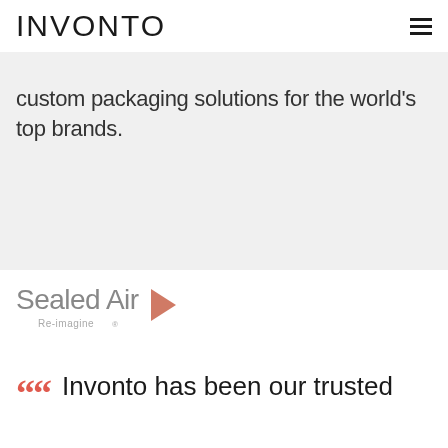INVONTO
custom packaging solutions for the world's top brands.
[Figure (logo): Sealed Air Re-imagine logo — grey text with a red/salmon arrow chevron icon]
Invonto has been our trusted